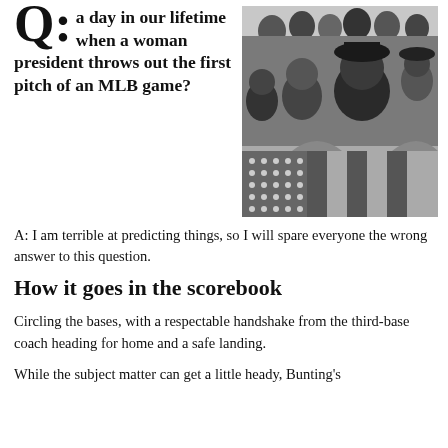Q: ...a day in our lifetime when a woman president throws out the first pitch of an MLB game?
[Figure (photo): Black and white historical photograph of a crowd at a baseball game with American flag bunting decorations visible]
A: I am terrible at predicting things, so I will spare everyone the wrong answer to this question.
How it goes in the scorebook
Circling the bases, with a respectable handshake from the third-base coach heading for home and a safe landing.
While the subject matter can get a little heady, Bunting's